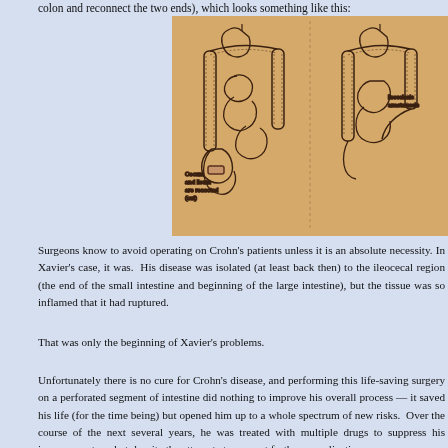colon and reconnect the two ends), which looks something like this:
[Figure (illustration): Medical illustration showing two diagrams of the intestinal tract side by side on a tan/beige background. Left diagram labels 'Cecum and ileum are resected (cut)'. Right diagram labels 'ileocolonic anastomosis'.]
Surgeons know to avoid operating on Crohn's patients unless it is an absolute necessity. In Xavier's case, it was. His disease was isolated (at least back then) to the ileocecal region (the end of the small intestine and beginning of the large intestine), but the tissue was so inflamed that it had ruptured.
That was only the beginning of Xavier's problems.
Unfortunately there is no cure for Crohn's disease, and performing this life-saving surgery on a perforated segment of intestine did nothing to improve his overall prognosis — it saved his life (for the time being) but opened him up to a whole spectrum of new risks. Over the course of the next several years, he was treated with multiple drugs to suppress his immune system, but despite the attempts to prevent further complications,